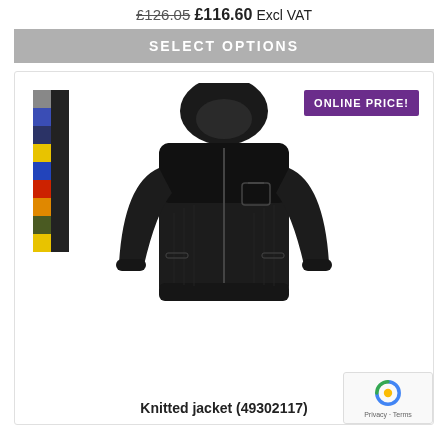£126.05 £116.60 Excl VAT
SELECT OPTIONS
[Figure (photo): Black knitted hooded jacket product photo with color swatches on the left and an ONLINE PRICE! badge in the top right]
Knitted jacket (49302117)